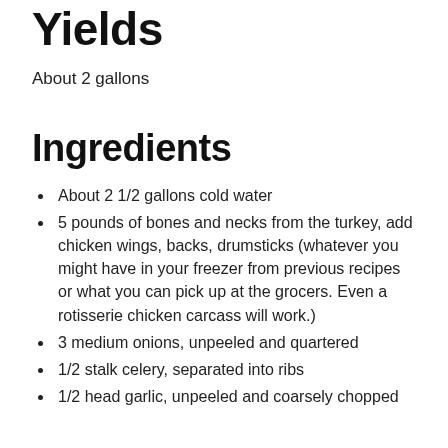Yields
About 2 gallons
Ingredients
About 2 1/2 gallons cold water
5 pounds of bones and necks from the turkey, add chicken wings, backs, drumsticks (whatever you might have in your freezer from previous recipes or what you can pick up at the grocers. Even a rotisserie chicken carcass will work.)
3 medium onions, unpeeled and quartered
1/2 stalk celery, separated into ribs
1/2 head garlic, unpeeled and coarsely chopped